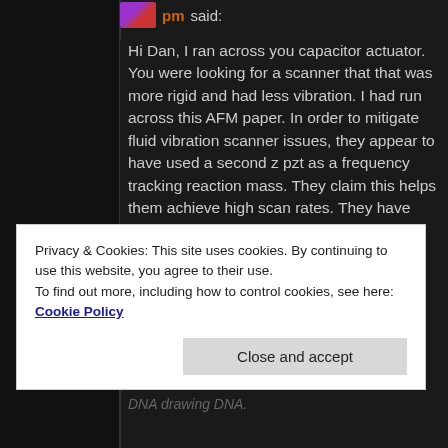pm said:
Hi Dan, I ran across you capacitor actuator. You were looking for a scanner that that was more rigid and had less vibration. I had run across this AFM paper. In order to mitigate fluid vibration scanner issues, they appear to have used a second z pzt as a frequency tracking reaction mass. They claim this helps them achieve high scan rates. They have obtained incredible videos now of biological
Privacy & Cookies: This site uses cookies. By continuing to use this website, you agree to their use.
To find out more, including how to control cookies, see here: Cookie Policy